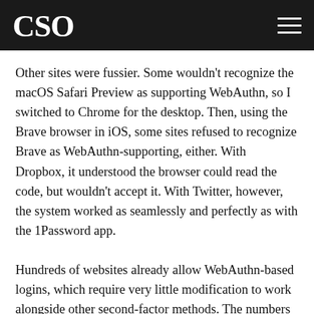CSO
Other sites were fussier. Some wouldn't recognize the macOS Safari Preview as supporting WebAuthn, so I switched to Chrome for the desktop. Then, using the Brave browser in iOS, some sites refused to recognize Brave as WebAuthn-supporting, either. With Dropbox, it understood the browser could read the code, but wouldn't accept it. With Twitter, however, the system worked as seamlessly and perfectly as with the 1Password app.
Hundreds of websites already allow WebAuthn-based logins, which require very little modification to work alongside other second-factor methods. The numbers have increased as browsers added support for the finished form of the standard over the last year. But developers have clearly tried to minimize compatibility issues by using strict filters about which browsers it believes are capable.